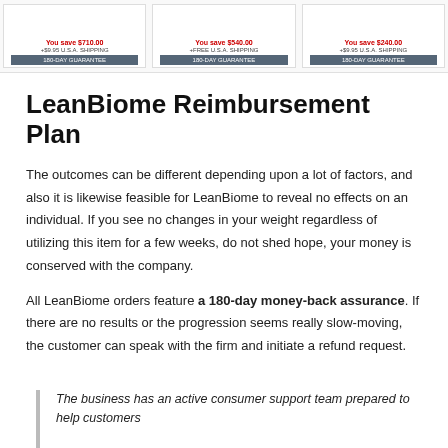[Figure (screenshot): Three product pricing cards showing savings amounts in red ('You save $710.00', 'You save $540.00', 'You save $240.00'), shipping info, and '180-DAY GUARANTEE' banners on dark blue background.]
LeanBiome Reimbursement Plan
The outcomes can be different depending upon a lot of factors, and also it is likewise feasible for LeanBiome to reveal no effects on an individual. If you see no changes in your weight regardless of utilizing this item for a few weeks, do not shed hope, your money is conserved with the company.
All LeanBiome orders feature a 180-day money-back assurance. If there are no results or the progression seems really slow-moving, the customer can speak with the firm and initiate a refund request.
The business has an active consumer support team prepared to help customers